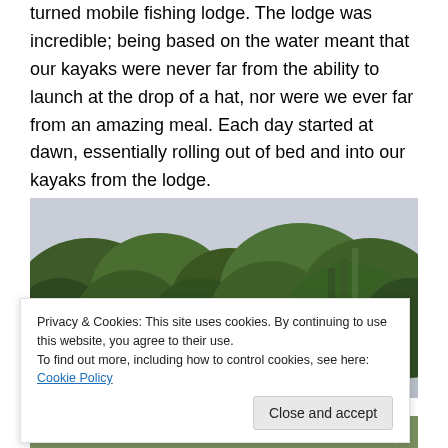turned mobile fishing lodge. The lodge was incredible; being based on the water meant that our kayaks were never far from the ability to launch at the drop of a hat, nor were we ever far from an amazing meal. Each day started at dawn, essentially rolling out of bed and into our kayaks from the lodge.
[Figure (photo): Photograph of dense tropical green trees/jungle canopy against a grey sky, with a white structure partially visible at the bottom]
Privacy & Cookies: This site uses cookies. By continuing to use this website, you agree to their use.
To find out more, including how to control cookies, see here: Cookie Policy